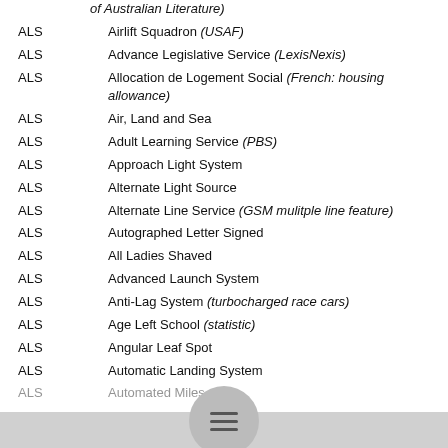ALS — of Australian Literature)
ALS — Airlift Squadron (USAF)
ALS — Advance Legislative Service (LexisNexis)
ALS — Allocation de Logement Social (French: housing allowance)
ALS — Air, Land and Sea
ALS — Adult Learning Service (PBS)
ALS — Approach Light System
ALS — Alternate Light Source
ALS — Alternate Line Service (GSM mulitple line feature)
ALS — Autographed Letter Signed
ALS — All Ladies Shaved
ALS — Advanced Launch System
ALS — Anti-Lag System (turbocharged race cars)
ALS — Age Left School (statistic)
ALS — Angular Leaf Spot
ALS — Automatic Landing System